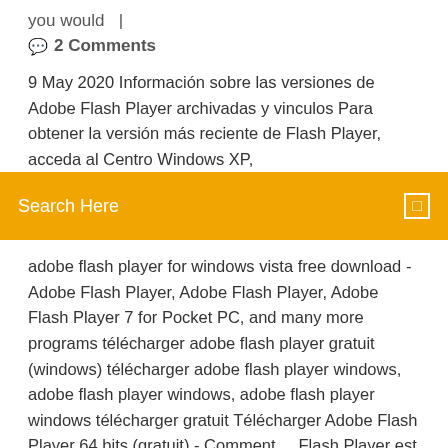you would  |
🗨️  2 Comments
9 May 2020 Información sobre las versiones de Adobe Flash Player archivadas y vinculos Para obtener la versión más reciente de Flash Player, acceda al Centro Windows XP,
Search Here
adobe flash player for windows vista free download - Adobe Flash Player, Adobe Flash Player, Adobe Flash Player 7 for Pocket PC, and many more programs télécharger adobe flash player gratuit (windows) télécharger adobe flash player windows, adobe flash player windows, adobe flash player windows télécharger gratuit Télécharger Adobe Flash Player 64 bits (gratuit) - Comment ... Flash Player est le plugin le plus utilisé pour les navigateurs Internet. Ce plugin permet de lire des sites Web intégrant de la vidéo, du texte, du son et des